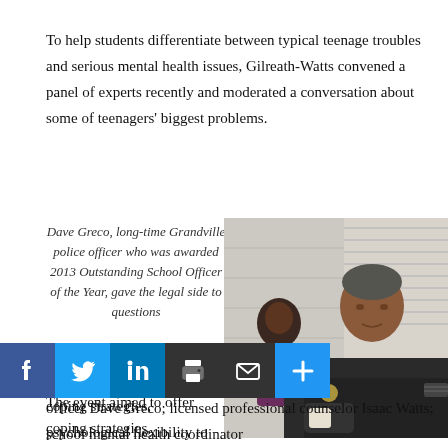To help students differentiate between typical teenage troubles and serious mental health issues, Gilreath-Watts convened a panel of experts recently and moderated a conversation about some of teenagers' biggest problems.
Dave Greco, long-time Grandville police officer who was awarded 2013 Outstanding School Officer of the Year, gave the legal side to questions
[Figure (photo): A police officer in dark uniform with a badge sits in front of a woman in a purple top, both appearing to be at a panel event in a room with blinds.]
The event aimed to offer coping strategies, psychological flexibility to avert mental distress, and even legal consequence to teenager troubles. Panelists included long-time Grandville police officer Dave Greco; licensed professional counselor Isaac Watts; school mental health coordinator